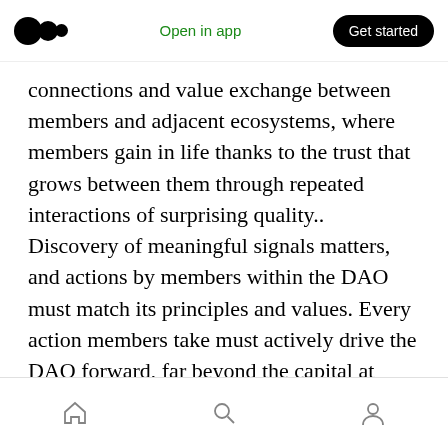Open in app | Get started
connections and value exchange between members and adjacent ecosystems, where members gain in life thanks to the trust that grows between them through repeated interactions of surprising quality.. Discovery of meaningful signals matters, and actions by members within the DAO must match its principles and values. Every action members take must actively drive the DAO forward, far beyond the capital at stake. An incentivized co-op model, where who a DAO is made of, by, and for matters just as much as what it is about.
Home | Search | Profile